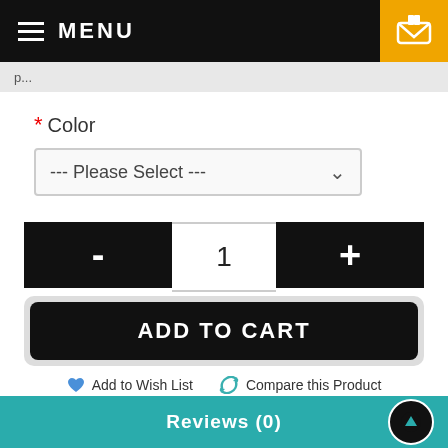MENU
* Color
--- Please Select ---
- 1 +
ADD TO CART
Add to Wish List   Compare this Product
0 reviews / Write a review
Reviews (0)